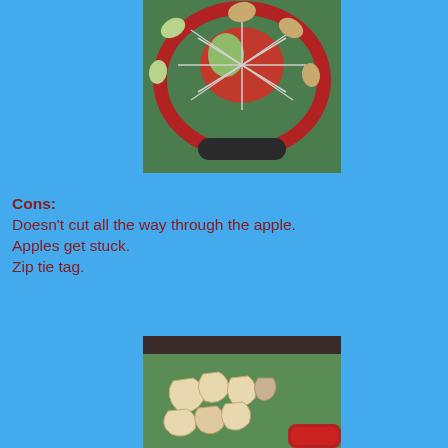[Figure (photo): Top-down view of an apple slicer/corer tool (red frame with black handle) on a green surface, with a red apple being cut into wedges.]
Cons:
Doesn't cut all the way through the apple.
Apples get stuck.
Zip tie tag.
[Figure (photo): Apple slices and apple core pieces arranged on a green cutting board, with the red apple slicer visible at the bottom right.]